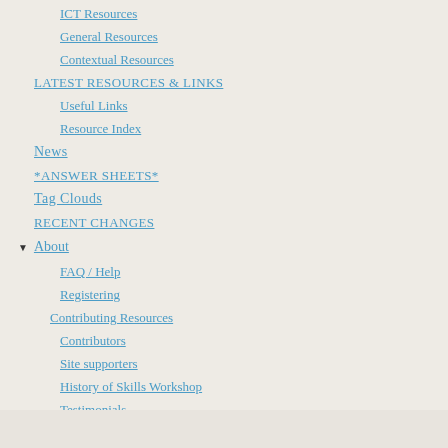ICT Resources
General Resources
Contextual Resources
LATEST RESOURCES & LINKS
Useful Links
Resource Index
News
*ANSWER SHEETS*
Tag Clouds
RECENT CHANGES
About
FAQ / Help
Registering
Contributing Resources
Contributors
Site supporters
History of Skills Workshop
Testimonials
Contact